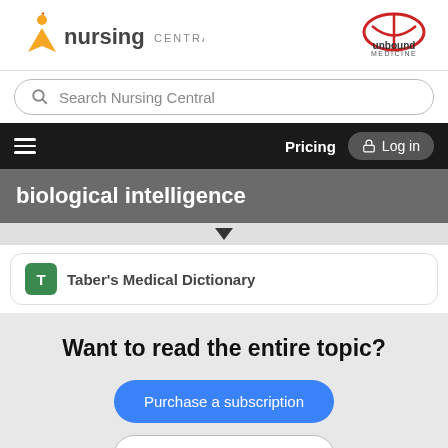[Figure (logo): Nursing Central logo with orange figure icon and Unbound Medicine logo on the right]
Search Nursing Central
Pricing  Log in
biological intelligence
Taber's Medical Dictionary
Want to read the entire topic?
Purchase a subscription
I'm already a subscriber
Browse sample topics